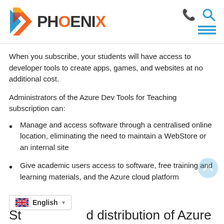[Figure (logo): Phoenix logo with stylized arrow/flame icon and PHOENIX text]
When you subscribe, your students will have access to developer tools to create apps, games, and websites at no additional cost.
Administrators of the Azure Dev Tools for Teaching subscription can:
Manage and access software through a centralised online location, eliminating the need to maintain a WebStore or an internal site
Give academic users access to software, free training and learning materials, and the Azure cloud platform
St… d distribution of Azure